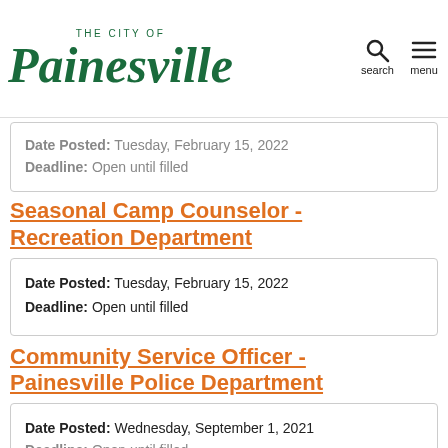THE CITY OF Painesville | search | menu
Date Posted: Tuesday, February 15, 2022
Deadline: Open until filled
Seasonal Camp Counselor - Recreation Department
Date Posted: Tuesday, February 15, 2022
Deadline: Open until filled
Community Service Officer - Painesville Police Department
Date Posted: Wednesday, September 1, 2021
Deadline: Open until filled